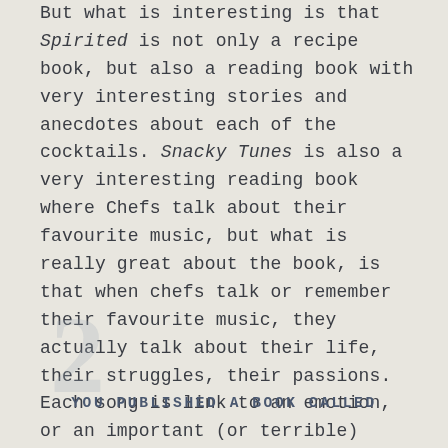But what is interesting is that Spirited is not only a recipe book, but also a reading book with very interesting stories and anecdotes about each of the cocktails. Snacky Tunes is also a very interesting reading book where Chefs talk about their favourite music, but what is really great about the book, is that when chefs talk or remember their favourite music, they actually talk about their life, their struggles, their passions. Each song is link to an emotion, or an important (or terrible) moment of their career. It is a fantastic read and you get amazing insights into chefs' personalities.
YOU PUBLISHED A BOOK CALLED